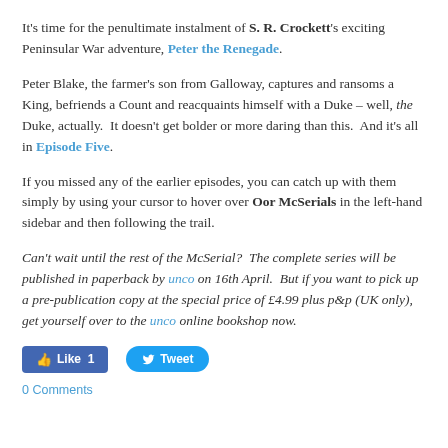It's time for the penultimate instalment of S. R. Crockett's exciting Peninsular War adventure, Peter the Renegade.
Peter Blake, the farmer's son from Galloway, captures and ransoms a King, befriends a Count and reacquaints himself with a Duke – well, the Duke, actually.  It doesn't get bolder or more daring than this.  And it's all in Episode Five.
If you missed any of the earlier episodes, you can catch up with them simply by using your cursor to hover over Oor McSerials in the left-hand sidebar and then following the trail.
Can't wait until the rest of the McSerial?  The complete series will be published in paperback by unco on 16th April.  But if you want to pick up a pre-publication copy at the special price of £4.99 plus p&p (UK only), get yourself over to the unco online bookshop now.
[Figure (other): Social media buttons: Facebook Like (count 1) and Twitter Tweet]
0 Comments